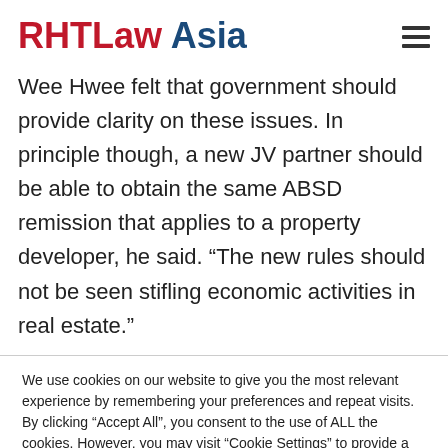RHTLaw Asia
Wee Hwee felt that government should provide clarity on these issues. In principle though, a new JV partner should be able to obtain the same ABSD remission that applies to a property developer, he said. “The new rules should not be seen stifling economic activities in real estate.”
We use cookies on our website to give you the most relevant experience by remembering your preferences and repeat visits. By clicking “Accept All”, you consent to the use of ALL the cookies. However, you may visit “Cookie Settings” to provide a controlled consent.
Cookie Settings | Accept All